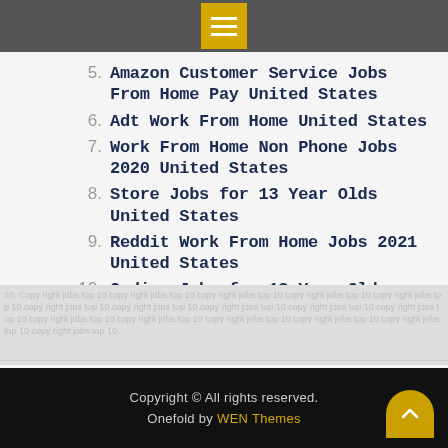Menu icon
5. Amazon Customer Service Jobs From Home Pay United States
6. Adt Work From Home United States
7. Work From Home Non Phone Jobs 2020 United States
8. Store Jobs for 13 Year Olds United States
9. Reddit Work From Home Jobs 2021 United States
10. Coding Jobs for 13 Year Olds United States
Copyright © All rights reserved. Onefold by WEN Themes